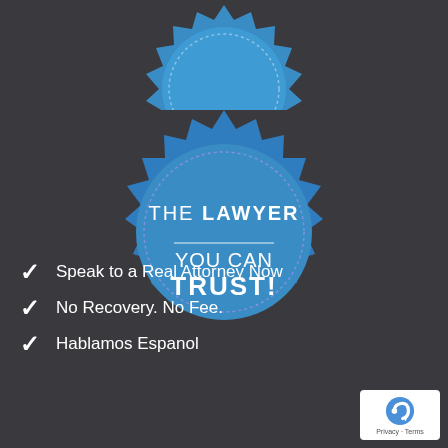[Figure (illustration): Partial blue badge/seal at top of page (cropped), with dotted circle border]
[Figure (illustration): Blue starburst/badge seal with dotted circle border containing text: THE LAWYER / YOU CAN TRUST!]
Speak to a Real Attorney Now
No Recovery. No Fee.
Hablamos Espanol